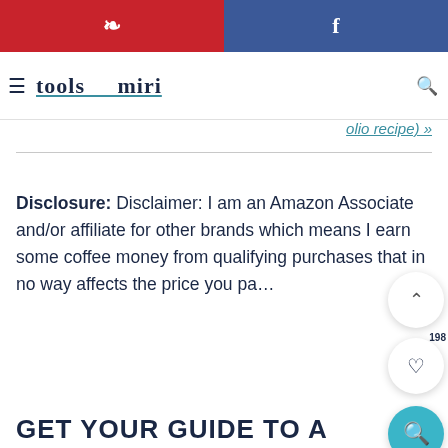Pinterest share | Facebook share
Tools Miri (logo/header)
olio recipe) »
Disclosure: Disclaimer: I am an Amazon Associate and/or affiliate for other brands which means I earn some coffee money from qualifying purchases that in no way affects the price you pa...
GET YOUR GUIDE TO A